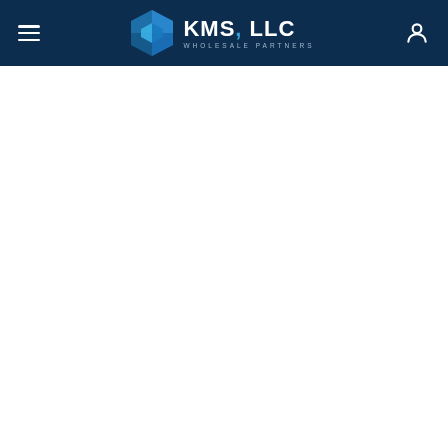KMS, LLC Wholesale Partners navigation header with hamburger menu and user icon